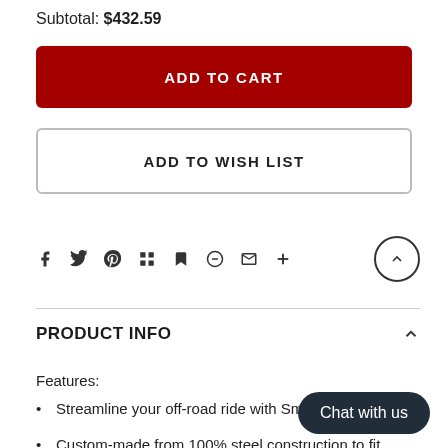Subtotal: $432.59
ADD TO CART
ADD TO WISH LIST
[Figure (infographic): Social sharing icons: Facebook, Twitter, Pinterest, Grid/apps, Bookmark, Heart/Minus, Email, Plus. Arrow-up circle button on right.]
PRODUCT INFO
Features:
Streamline your off-road ride with Smith Flares
Custom-made from 100% steel construction to fit your